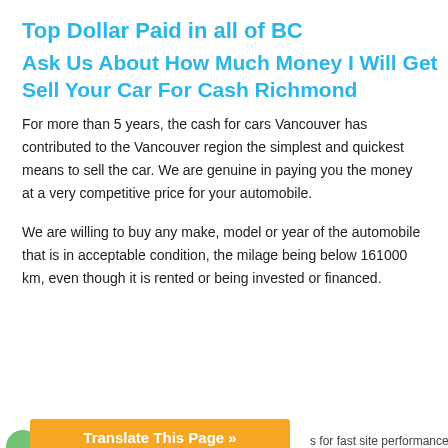Top Dollar Paid in all of BC
Ask Us About How Much Money I Will Get Sell Your Car For Cash Richmond
For more than 5 years, the cash for cars Vancouver has contributed to the Vancouver region the simplest and quickest means to sell the car. We are genuine in paying you the money at a very competitive price for your automobile.
We are willing to buy any make, model or year of the automobile that is in acceptable condition, the milage being below 161000 km, even though it is rented or being invested or financed.
Translate This Page »   Aut… s for fast site performance